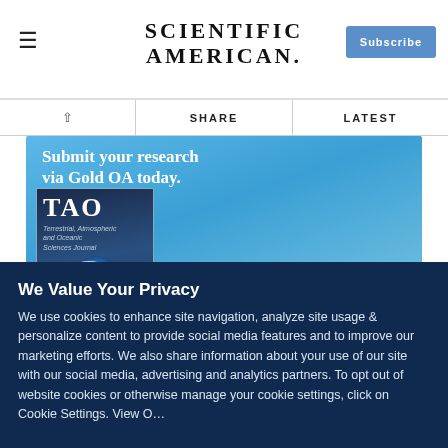SCIENTIFIC AMERICAN
SHARE   LATEST
[Figure (illustration): TAO journal advertisement banner with blue sky background. Text reads: 'Submit your research via Gold OA today. Click here to learn more about what the open access journal is looking for.' Features a journal cover with TAO (Terrestrial, Atmospheric and Oceanic Sciences Journal) logo and globe imagery.]
We Value Your Privacy
We use cookies to enhance site navigation, analyze site usage & personalize content to provide social media features and to improve our marketing efforts. We also share information about your use of our site with our social media, advertising and analytics partners. To opt out of website cookies or otherwise manage your cookie settings, click on Cookie Settings. View O...